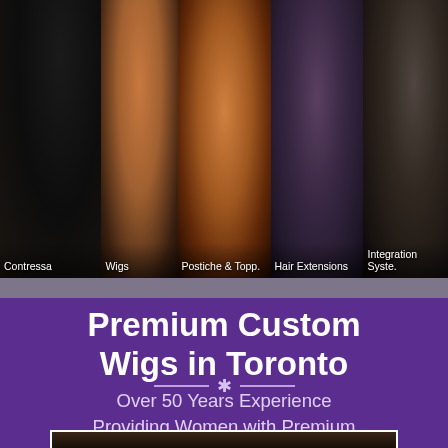[Figure (photo): Navigation strip with five hair-related photos: long straight dark hair (Contressa), brunette woman smiling (Wigs), woman with bangs in zebra top (Postiche & Topp.), woman with curly hair (Hair Extensions), dark portrait (Integration Syste.). Labels are shown at the bottom of each photo.]
Premium Custom Wigs in Toronto
Over 50 Years Experience Providing Women with Premium Wigs, Toppers, and Hair Systems
[Figure (photo): Partial preview of a photo at the bottom of the page, showing the top of a person's head with dark hair.]